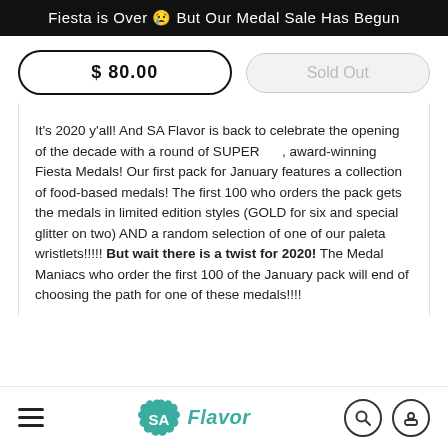Fiesta is Over 😢 But Our Medal Sale Has Begun
$ 80.00
Sold Out
It's 2020 y'all! And SA Flavor is back to celebrate the opening of the decade with a round of SUPER , award-winning Fiesta Medals! Our first pack for January features a collection of food-based medals! The first 100 who orders the pack gets the medals in limited edition styles (GOLD for six and special glitter on two) AND a random selection of one of our paleta wristlets!!!!! But wait there is a twist for 2020! The Medal Maniacs who order the first 100 of the January pack will end of choosing the path for one of these medals!!!!
SA Flavor